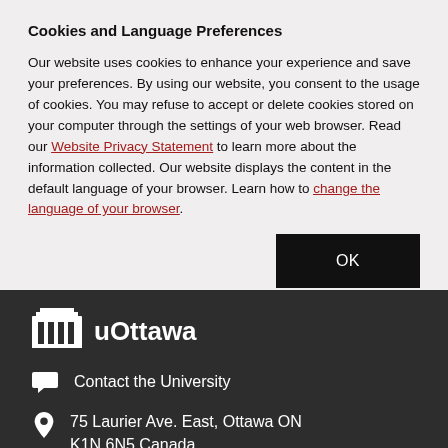Cookies and Language Preferences
Our website uses cookies to enhance your experience and save your preferences. By using our website, you consent to the usage of cookies. You may refuse to accept or delete cookies stored on your computer through the settings of your web browser. Read our Website Privacy Statement to learn more about the information collected. Our website displays the content in the default language of your browser. Learn how to change the language of your browser.
OK
[Figure (logo): University of Ottawa logo (uOttawa) in white on dark background]
Contact the University
75 Laurier Ave. East, Ottawa ON K1N 6N5 Canada
Library
Accessibility hub